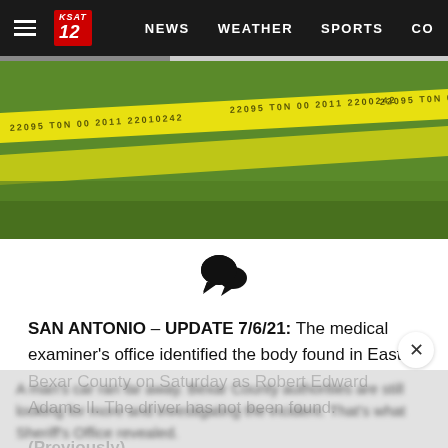KSAT 12 — NEWS   WEATHER   SPORTS   CO
[Figure (photo): Yellow police crime scene tape stretched across a grassy area outdoors]
[Figure (other): Two speech bubble chat icons in black]
SAN ANTONIO – UPDATE 7/6/21: The medical examiner's office identified the body found in East Bexar County on Saturday as Robert Edward Adams II. The driver has not been found.
(Previously)
A man's car ran far away. Bexar County authorities are still looking for more and investigating the incident. That's what Sheriff's Office revealed.